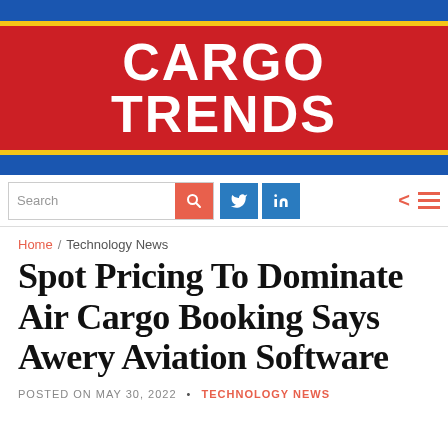[Figure (logo): Cargo Trends logo: red rectangle with yellow top and bottom borders containing bold white text 'CARGO TRENDS' on a blue background banner]
Search | Twitter | LinkedIn | Navigation menu
Home / Technology News
Spot Pricing To Dominate Air Cargo Booking Says Awery Aviation Software
POSTED ON MAY 30, 2022 • TECHNOLOGY NEWS